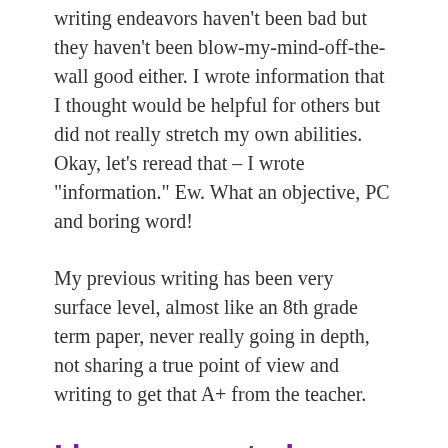writing endeavors haven't been bad but they haven't been blow-my-mind-off-the-wall good either. I wrote information that I thought would be helpful for others but did not really stretch my own abilities. Okay, let's reread that – I wrote "information." Ew. What an objective, PC and boring word!
My previous writing has been very surface level, almost like an 8th grade term paper, never really going in depth, not sharing a true point of view and writing to get that A+ from the teacher.
I have come to learn writing needs to feed the